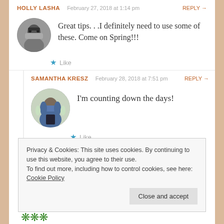HOLLY LASHA  February 27, 2018 at 1:14 pm  REPLY →
Great tips. . .I definitely need to use some of these. Come on Spring!!!
★ Like
SAMANTHA KRESZ  February 28, 2018 at 7:51 pm  REPLY →
I'm counting down the days!
★ Like
Privacy & Cookies: This site uses cookies. By continuing to use this website, you agree to their use.
To find out more, including how to control cookies, see here: Cookie Policy
Close and accept